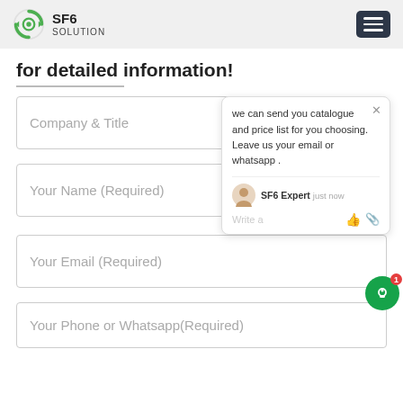SF6 SOLUTION
for detailed information!
[Figure (screenshot): Chat widget popup with message: 'we can send you catalogue and price list for you choosing. Leave us your email or whatsapp .' Showing SF6 Expert agent, just now timestamp, Write a message input area with like and attachment icons. Green circular chat button with badge '1' in the corner.]
Company & Title
Your Name (Required)
Your Email (Required)
Your Phone or Whatsapp(Required)